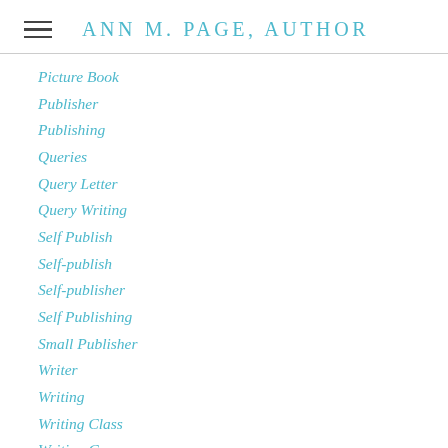ANN M. PAGE, AUTHOR
Picture Book
Publisher
Publishing
Queries
Query Letter
Query Writing
Self Publish
Self-publish
Self-publisher
Self Publishing
Small Publisher
Writer
Writing
Writing Class
Writing Course
Writing Courses